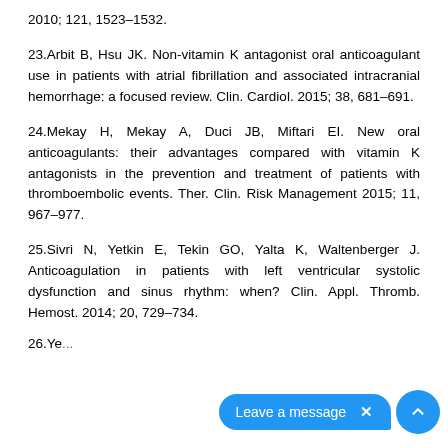2010; 121, 1523–1532.
23. Arbit B, Hsu JK. Non-vitamin K antagonist oral anticoagulant use in patients with atrial fibrillation and associated intracranial hemorrhage: a focused review. Clin. Cardiol. 2015; 38, 681–691.
24. Mekay H, Mekay A, Duci JB, Miftari EI. New oral anticoagulants: their advantages compared with vitamin K antagonists in the prevention and treatment of patients with thromboembolic events. Ther. Clin. Risk Management 2015; 11, 967–977.
25. Sivri N, Yetkin E, Tekin GO, Yalta K, Waltenberger J. Anticoagulation in patients with left ventricular systolic dysfunction and sinus rhythm: when? Clin. Appl. Thromb. Hemost. 2014; 20, 729–734.
26. Ye...